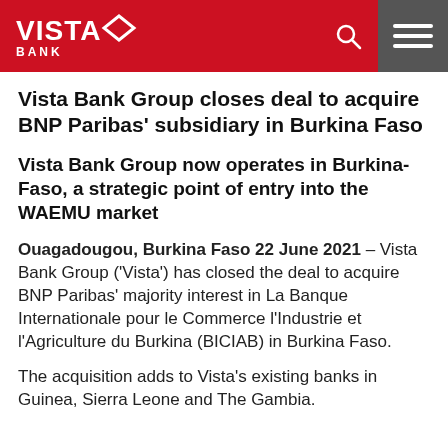VISTA BANK
Vista Bank Group closes deal to acquire BNP Paribas' subsidiary in Burkina Faso
Vista Bank Group now operates in Burkina-Faso, a strategic point of entry into the WAEMU market
Ouagadougou, Burkina Faso 22 June 2021 – Vista Bank Group ('Vista') has closed the deal to acquire BNP Paribas' majority interest in La Banque Internationale pour le Commerce l'Industrie et l'Agriculture du Burkina (BICIAB) in Burkina Faso.
The acquisition adds to Vista's existing banks in Guinea, Sierra Leone and The Gambia.